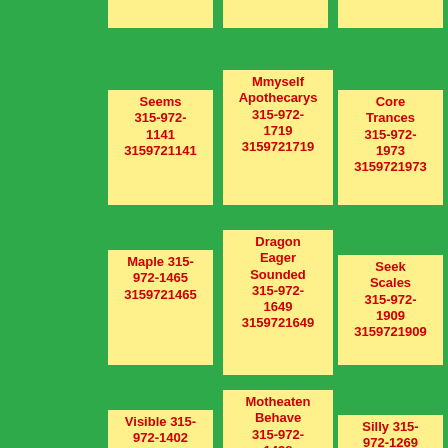3159721701
3159721487
3159721700
Seems 315-972-1141 3159721141
Mmyself Apothecarys 315-972-1719 3159721719
Core Trances 315-972-1973 3159721973
Maple 315-972-1465 3159721465
Dragon Eager Sounded 315-972-1649 3159721649
Seek Scales 315-972-1909 3159721909
Visible 315-972-1402 3159721402
Motheaten Behave 315-972-1438 3159721438
Silly 315-972-1269 3159721269